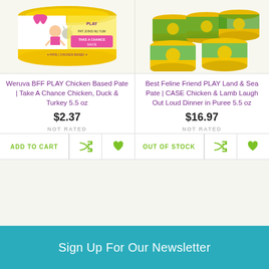[Figure (photo): Weruva BFF PLAY cat food can - chicken based pate, yellow can with pink cartoon girl and cat]
[Figure (photo): Best Feline Friend PLAY Land & Sea Pate cans arranged in rows - green/yellow cans]
Weruva BFF PLAY Chicken Based Pate | Take A Chance Chicken, Duck & Turkey 5.5 oz
Best Feline Friend PLAY Land & Sea Pate | CASE Chicken & Lamb Laugh Out Loud Dinner in Puree 5.5 oz
$2.37
$16.97
NOT RATED
NOT RATED
ADD TO CART
OUT OF STOCK
Sign Up For Our Newsletter